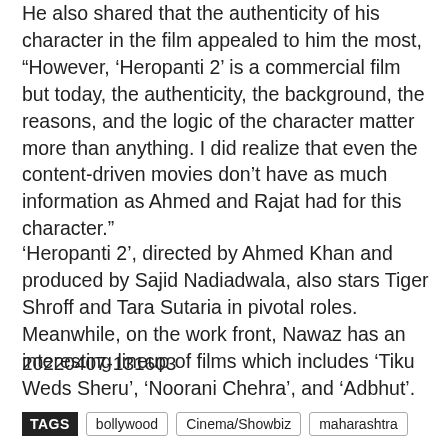He also shared that the authenticity of his character in the film appealed to him the most, “However, ‘Heropanti 2’ is a commercial film but today, the authenticity, the background, the reasons, and the logic of the character matter more than anything. I did realize that even the content-driven movies don’t have as much information as Ahmed and Rajat had for this character.”
‘Heropanti 2’, directed by Ahmed Khan and produced by Sajid Nadiadwala, also stars Tiger Shroff and Tara Sutaria in pivotal roles. Meanwhile, on the work front, Nawaz has an interesting lineup of films which includes ‘Tiku Weds Sheru’, ‘Noorani Chehra’, and ‘Adbhut’.
20220407-131603
TAGS   bollywood   Cinema/Showbiz   maharashtra